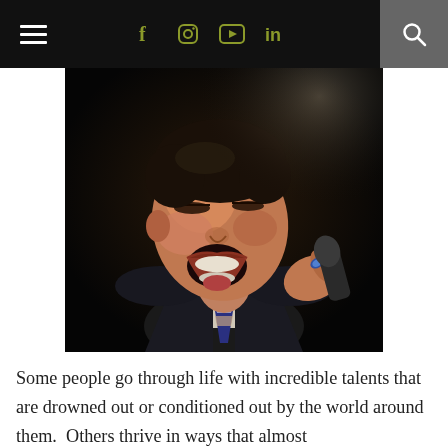Navigation bar with hamburger menu, social icons (f, Instagram, YouTube, in), and search
[Figure (photo): A performer singing passionately with eyes closed, head tilted back, mouth open wide, holding a microphone, wearing a dark blazer and striped tie, dramatic dark background lighting.]
Some people go through life with incredible talents that are drowned out or conditioned out by the world around them.  Others thrive in ways that almost